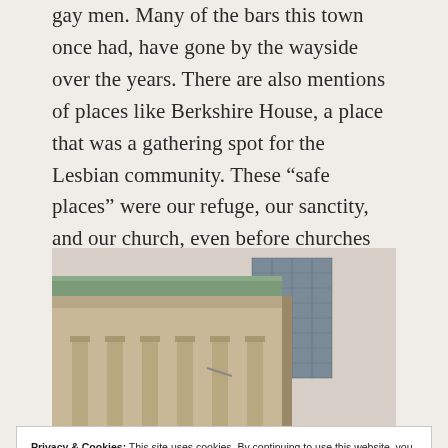gay men. Many of the bars this town once had, have gone by the wayside over the years. There are also mentions of places like Berkshire House, a place that was a gathering spot for the Lesbian community. These “safe places” were our refuge, our sanctity, and our church, even before churches started opening to us.
[Figure (photo): Photograph of a large classical stone building with green roof and columns, with a modern glass tower visible behind it. Taken from a low angle looking up.]
Privacy & Cookies: This site uses cookies. By continuing to use this website, you agree to their use.
To find out more, including how to control cookies, see here: Cookie Policy
Close and accept